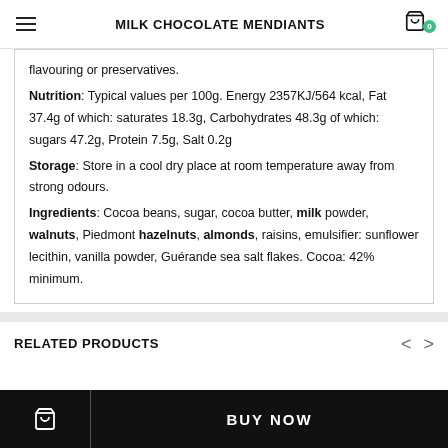MILK CHOCOLATE MENDIANTS
flavouring or preservatives.
Nutrition: Typical values per 100g. Energy 2357KJ/564 kcal, Fat 37.4g of which: saturates 18.3g, Carbohydrates 48.3g of which: sugars 47.2g, Protein 7.5g, Salt 0.2g
Storage: Store in a cool dry place at room temperature away from strong odours.
Ingredients: Cocoa beans, sugar, cocoa butter, milk powder, walnuts, Piedmont hazelnuts, almonds, raisins, emulsifier: sunflower lecithin, vanilla powder, Guérande sea salt flakes. Cocoa: 42% minimum.
RELATED PRODUCTS
BUY NOW